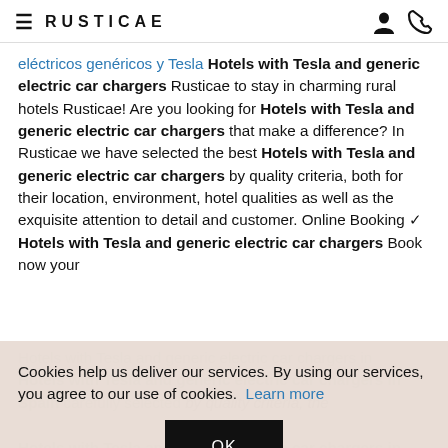≡ RUSTICAE
eléctricos genéricos y Tesla Hotels with Tesla and generic electric car chargers Rusticae to stay in charming rural hotels Rusticae! Are you looking for Hotels with Tesla and generic electric car chargers that make a difference? In Rusticae we have selected the best Hotels with Tesla and generic electric car chargers by quality criteria, both for their location, environment, hotel qualities as well as the exquisite attention to detail and customer. Online Booking ▶ Hotels with Tesla and generic electric car chargers Book now your Hotels with Tesla and generic electric car chargers in Spain carefully selected by quality criteria, the Hotels with Tesla and generic electric car chargers in Spain carefully selected...
Cookies help us deliver our services. By using our services, you agree to our use of cookies. Learn more
OK